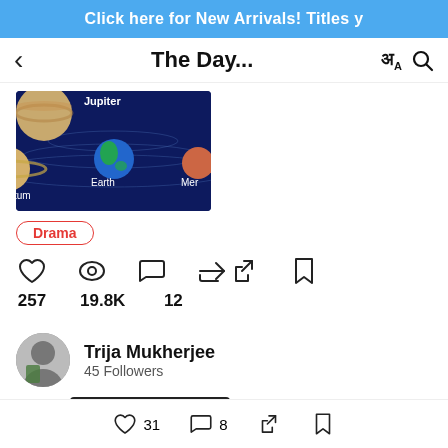Click here for New Arrivals! Titles y
The Day...
[Figure (screenshot): Partial book cover showing solar system with planets: Jupiter, Earth, Mercury (partially visible), and Saturn, on a dark blue background.]
Drama
257   19.8K   12
Trija Mukherjee
45 Followers
31   8